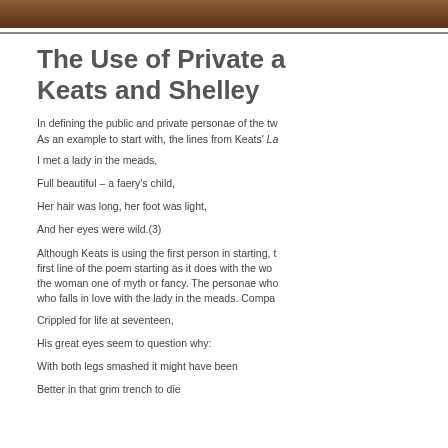[Figure (photo): Partial photo strip at the top of the page showing a brown/reddish-brown image, likely a portrait or artwork]
The Use of Private a... Keats and Shelley
In defining the public and private personae of the tw... As an example to start with, the lines from Keats' La...
I met a lady in the meads,
Full beautiful – a faery's child,
Her hair was long, her foot was light,
And her eyes were wild.(3)
Although Keats is using the first person in starting, t... first line of the poem starting as it does with the wo... the woman one of myth or fancy. The personae who... who falls in love with the lady in the meads. Compa...
Crippled for life at seventeen,
His great eyes seem to question why:
With both legs smashed it might have been
Better in that grim trench to die